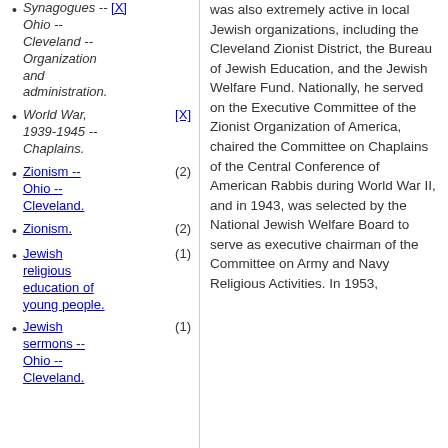Synagogues -- [X] Ohio -- Cleveland -- Organization and administration.
World War, 1939-1945 -- Chaplains. [X]
Zionism -- Ohio -- Cleveland. (2)
Zionism. (2)
Jewish religious education of young people. (1)
Jewish sermons -- Ohio -- Cleveland. (1)
was also extremely active in local Jewish organizations, including the Cleveland Zionist District, the Bureau of Jewish Education, and the Jewish Welfare Fund. Nationally, he served on the Executive Committee of the Zionist Organization of America, chaired the Committee on Chaplains of the Central Conference of American Rabbis during World War II, and in 1943, was selected by the National Jewish Welfare Board to serve as executive chairman of the Committee on Army and Navy Religious Activities. In 1953,